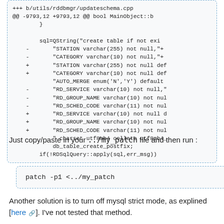[Figure (screenshot): Code block showing a diff of utils/rddbmgr/updateschema.cpp with lines removed (marked with -) and added (marked with +), showing SQL table creation changes.]
Just copy/paste in your ../my_patch file and then run :
[Figure (screenshot): Code block showing the command: patch -p1 <../my_patch]
Another solution is to turn off mysql strict mode, as explined [here]. I've not tested that method.